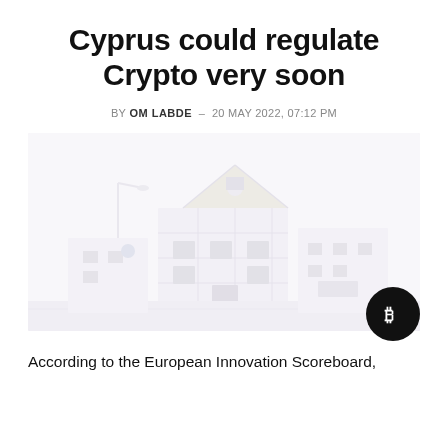Cyprus could regulate Crypto very soon
BY OM LABDE – 20 MAY 2022, 07:12 PM
[Figure (photo): A faded/washed-out photograph of a European-style building on a street, likely in Cyprus. The image has a very light, nearly white appearance with muted colors.]
According to the European Innovation Scoreboard,